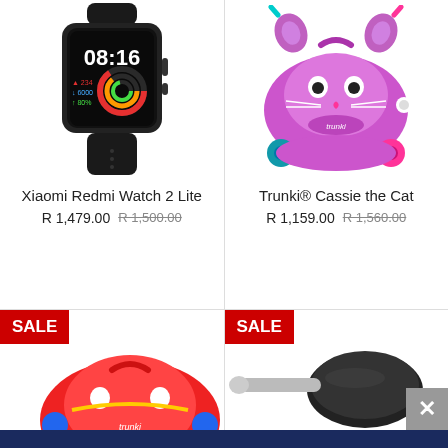[Figure (photo): Xiaomi Redmi Watch 2 Lite smartwatch with black band showing 08:16 time on display]
Xiaomi Redmi Watch 2 Lite
R 1,479.00 R 1,500.00
[Figure (photo): Trunki Cassie the Cat pink cat-shaped children's ride-on suitcase]
Trunki® Cassie the Cat
R 1,159.00 R 1,560.00
[Figure (photo): SALE badge and red Trunki children's ride-on suitcase (partially visible)]
[Figure (photo): SALE badge and partially visible product (cooking pan/tool)]
JOIN OUR EXCLUSIVE CLUB
Become A Member